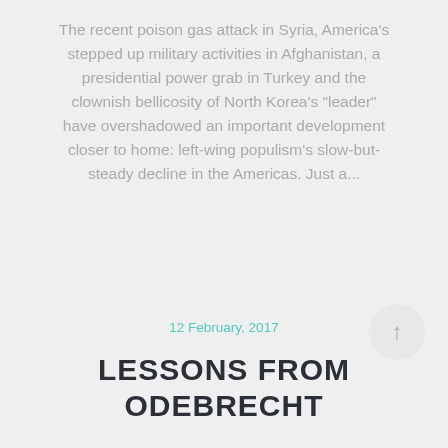The recent poison gas attack in Syria, America's stepped up military activities in Afghanistan, a presidential power grab in Turkey and the clownish bellicosity of North Korea's "leader" have overshadowed an important development closer to home: left-wing populism's slow-but-steady decline in the Americas. Just a...
12 February, 2017
LESSONS FROM ODEBRECHT